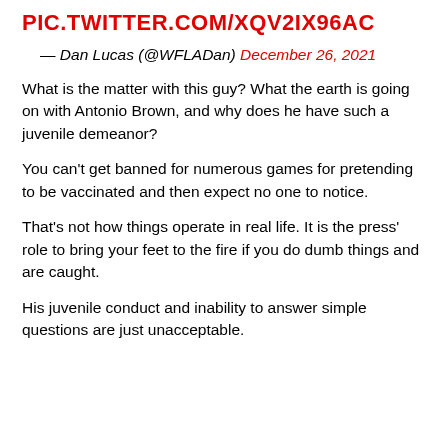PIC.TWITTER.COM/XQV2IX96AC
— Dan Lucas (@WFLADan) December 26, 2021
What is the matter with this guy? What the earth is going on with Antonio Brown, and why does he have such a juvenile demeanor?
You can't get banned for numerous games for pretending to be vaccinated and then expect no one to notice.
That's not how things operate in real life. It is the press' role to bring your feet to the fire if you do dumb things and are caught.
His juvenile conduct and inability to answer simple questions are just unacceptable.